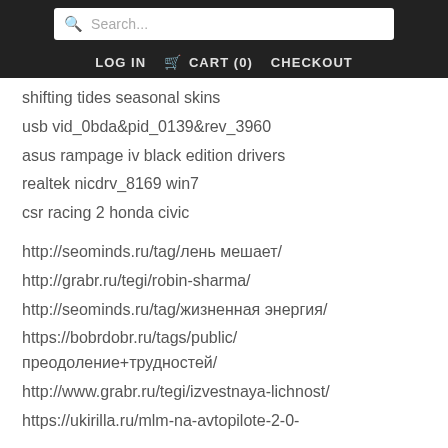Search... LOG IN CART (0) CHECKOUT
shifting tides seasonal skins
usb vid_0bda&pid_0139&rev_3960
asus rampage iv black edition drivers
realtek nicdrv_8169 win7
csr racing 2 honda civic
http://seominds.ru/tag/лень мешает/
http://grabr.ru/tegi/robin-sharma/
http://seominds.ru/tag/жизненная энергия/
https://bobrdobr.ru/tags/public/преодоление+трудностей/
http://www.grabr.ru/tegi/izvestnaya-lichnost/
https://ukirilla.ru/mlm-na-avtopilote-2-0-obuchayushhij-kurs/